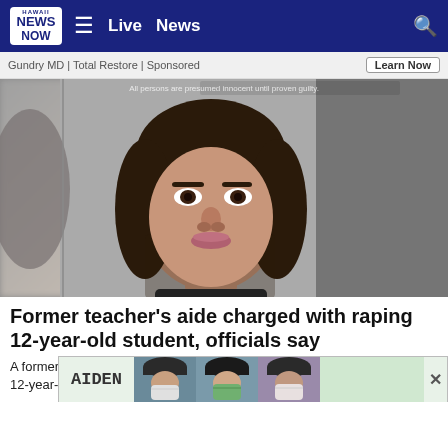Hawaii News Now | Live  News
Gundry MD | Total Restore | Sponsored
[Figure (photo): Mugshot photo of a young woman with long dark hair against a gray background. A blurred figure is visible on the left side. A watermark reads 'All persons are presumed innocent until proven guilty.']
Former teacher’s aide charged with raping 12-year-old student, officials say
A former ... raping a 12-year- ...
[Figure (photo): Advertisement overlay showing 'AIDEN' text and three medical professionals wearing surgical masks and caps.]